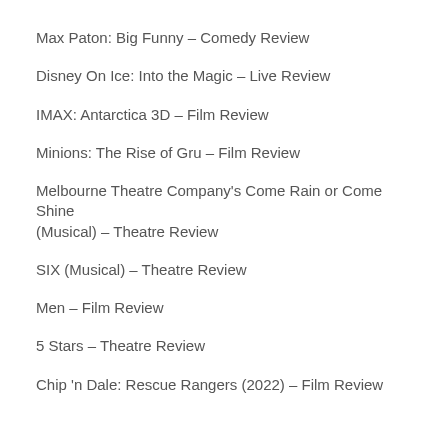Max Paton: Big Funny – Comedy Review
Disney On Ice: Into the Magic – Live Review
IMAX: Antarctica 3D – Film Review
Minions: The Rise of Gru – Film Review
Melbourne Theatre Company's Come Rain or Come Shine (Musical) – Theatre Review
SIX (Musical) – Theatre Review
Men – Film Review
5 Stars – Theatre Review
Chip 'n Dale: Rescue Rangers (2022) – Film Review